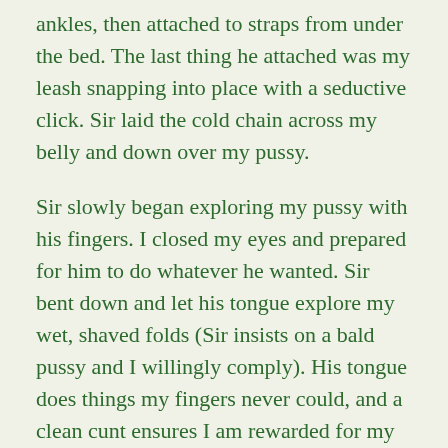ankles, then attached to straps from under the bed. The last thing he attached was my leash snapping into place with a seductive click. Sir laid the cold chain across my belly and down over my pussy.
Sir slowly began exploring my pussy with his fingers. I closed my eyes and prepared for him to do whatever he wanted. Sir bent down and let his tongue explore my wet, shaved folds (Sir insists on a bald pussy and I willingly comply). His tongue does things my fingers never could, and a clean cunt ensures I am rewarded for my efforts. Sir rolled the tip of his tongue on my clit, then covered my nub with his lips and sucked.
“Are you enjoying to me” He raised his head to